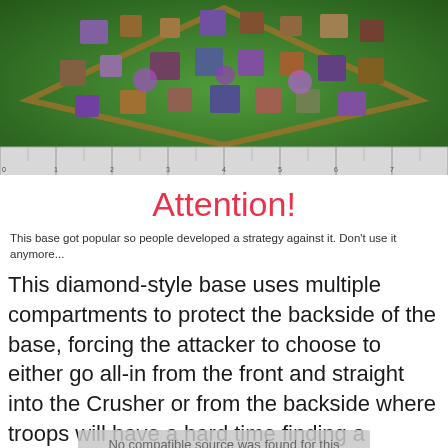[Figure (screenshot): Mobile game screenshot showing a diamond-style base layout in what appears to be a castle/base building game, with various buildings and structures on a green field, with a ruler strip at the bottom.]
Attention!
This base got popular so people developed a strategy against it. Don't use it anymore...
This diamond-style base uses multiple compartments to protect the backside of the base, forcing the attacker to choose to either go all-in from the front and straight into the Crusher or from the backside where troops will have a hard time finding a straight part
No compatible source was found for this media.